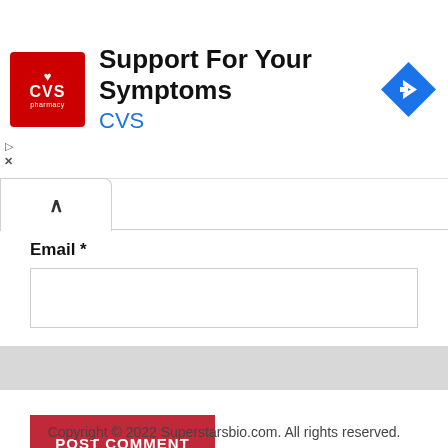[Figure (other): CVS Pharmacy advertisement banner with red square logo showing heart and CVS pharmacy text, headline 'Support For Your Symptoms', subtext 'CVS', and a blue diamond arrow icon on the right]
Email *
Save my name, email, and website in this browser for the next time I comment.
POST COMMENT
Copyright © 2022 Superstarsbio.com. All rights reserved.